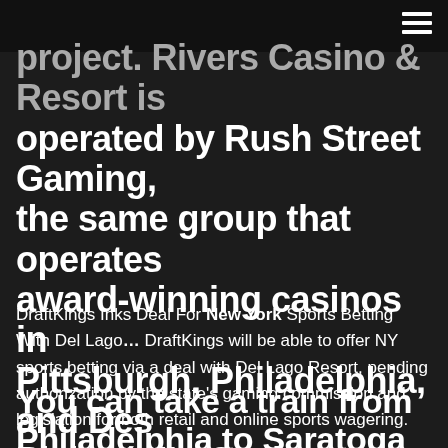project. Rivers Casino & Resort is operated by Rush Street Gaming, the same group that operates award-winning casinos in Pittsburgh, Philadelphia, and Des Plaines, IL. Casino Highlights
DraftKings Inks Deal For New York Sports Betting With Del Lago… DraftKings will be able to offer NY sports betting via a deal with Del Lago Resort, pending authorization by the state's gaming commission and legislation for both retail and online sports wagering.
You can take a train from Philadelphia to Saratoga Springs via New York Penn